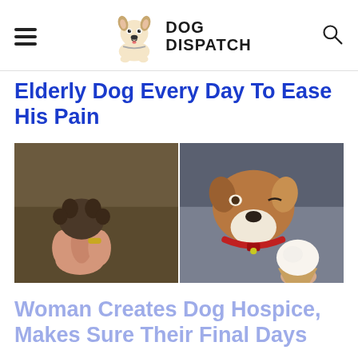DOG DISPATCH
Elderly Dog Every Day To Ease His Pain
[Figure (photo): Two side-by-side photos: left shows a person holding a dog's paw; right shows a small dog with a red collar enjoying an ice cream cone]
Woman Creates Dog Hospice, Makes Sure Their Final Days